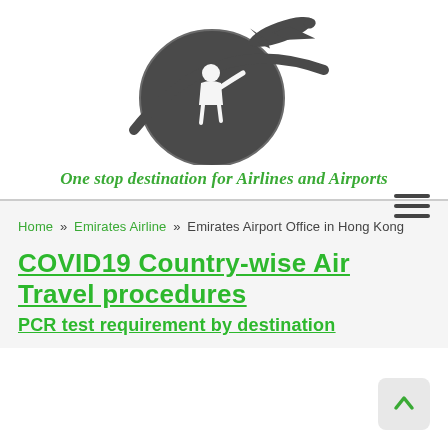[Figure (logo): Travel website logo: globe with airplane silhouette and swoosh, dark grey/charcoal]
One stop destination for Airlines and Airports
Home » Emirates Airline » Emirates Airport Office in Hong Kong
COVID19 Country-wise Air Travel procedures
PCR test requirement by destination